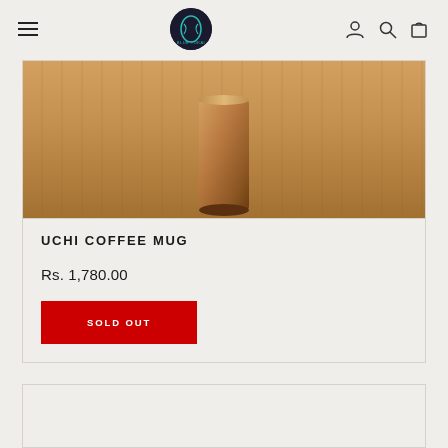Navigation bar with hamburger menu, Blue Tokai logo, user icon, search icon, cart icon
[Figure (photo): Copper/bronze metallic coffee mug sitting on a wooden surface, photographed from above at an angle. The mug has a cylindrical shape with a warm bronze finish.]
UCHI COFFEE MUG
Rs. 1,780.00
SOLD OUT